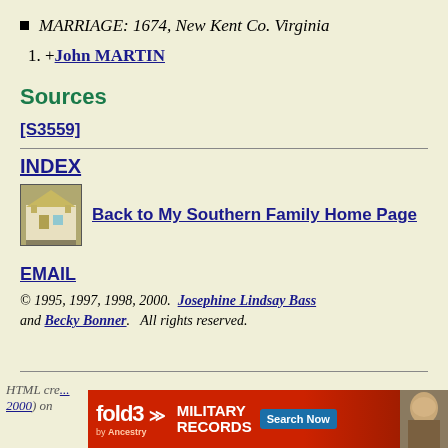MARRIAGE: 1674, New Kent Co. Virginia
1. +John MARTIN
Sources
[S3559]
INDEX
Back to My Southern Family Home Page
EMAIL
© 1995, 1997, 1998, 2000.  Josephine Lindsay Bass and Becky Bonner.   All rights reserved.
HTML cre... 2000) on ... [ad: fold3 MILITARY RECORDS Search Now]